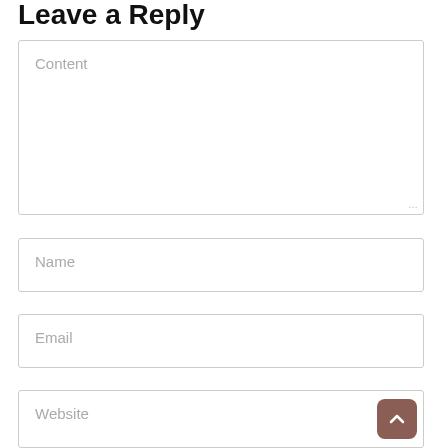Leave a Reply
Content (placeholder text field)
Name (placeholder text field)
Email (placeholder text field)
Website (placeholder text field)